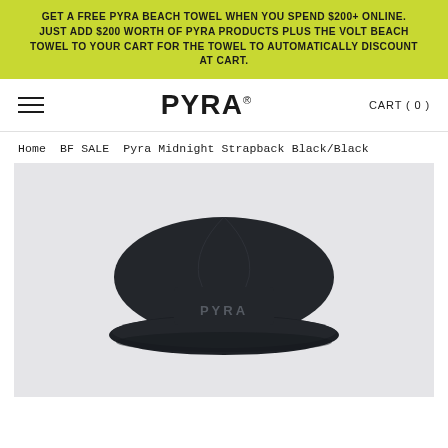GET A FREE PYRA BEACH TOWEL WHEN YOU SPEND $200+ ONLINE. JUST ADD $200 WORTH OF PYRA PRODUCTS PLUS THE VOLT BEACH TOWEL TO YOUR CART FOR THE TOWEL TO AUTOMATICALLY DISCOUNT AT CART.
≡  PYRA®  CART ( 0 )
Home BF SALE Pyra Midnight Strapback Black/Black
[Figure (photo): Product photo of a black Pyra Midnight Strapback cap viewed from above, showing PYRA branding on the front panel, on a light grey background.]